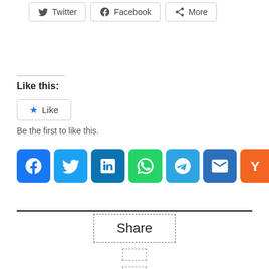[Figure (screenshot): Social share buttons row at top: Twitter, Facebook, More]
Like this:
[Figure (screenshot): WordPress Like widget button with star icon and Like label]
Be the first to like this.
[Figure (screenshot): Social media icon buttons row: Facebook, Twitter, LinkedIn, WhatsApp, Telegram, Email, Yummly, Share/More]
[Figure (screenshot): Share section with dashed border boxes: large Share box and two smaller dashed boxes below]